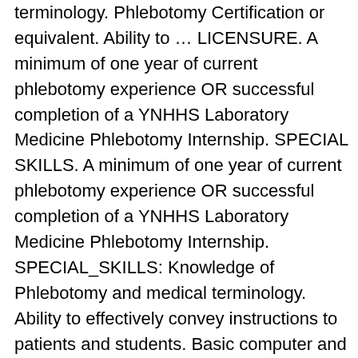terminology. Phlebotomy Certification or equivalent. Ability to … LICENSURE. A minimum of one year of current phlebotomy experience OR successful completion of a YNHHS Laboratory Medicine Phlebotomy Internship. SPECIAL SKILLS. A minimum of one year of current phlebotomy experience OR successful completion of a YNHHS Laboratory Medicine Phlebotomy Internship. SPECIAL_SKILLS: Knowledge of Phlebotomy and medical terminology. Ability to effectively convey instructions to patients and students. Basic computer and keyboarding skills required. Phlebotomy Certification or equivalent. High School diploma required and Graduation from an accredited medical assistant program preferred. Ability to effectively convey instructions to patients and students. Ability to … Knowledge of Phlebotomy and Medical Terminology. EXPERIENCE A minimum of one year of current phlebotomy